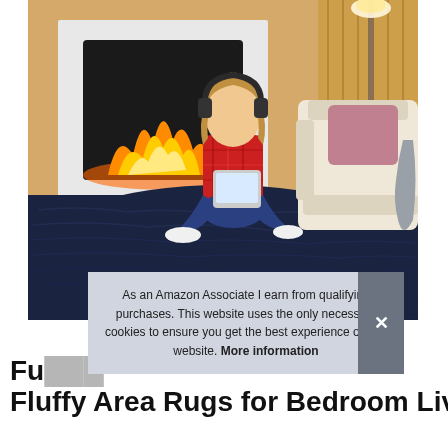[Figure (photo): A girl wearing headphones sits cross-legged on a large dark navy blue fluffy area rug in a living room with a fireplace and a cream armchair.]
As an Amazon Associate I earn from qualifying purchases. This website uses the only necessary cookies to ensure you get the best experience on our website. More information
Fluffy Area Rugs for Bedroom Living